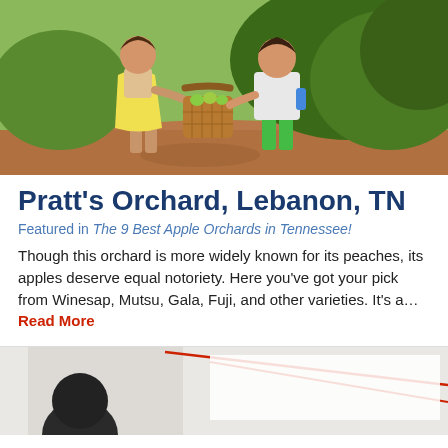[Figure (photo): Two children walking on a dirt path carrying a wicker basket full of apples, with green trees and grass in the background.]
Pratt's Orchard, Lebanon, TN
Featured in The 9 Best Apple Orchards in Tennessee!
Though this orchard is more widely known for its peaches, its apples deserve equal notoriety. Here you've got your pick from Winesap, Mutsu, Gala, Fuji, and other varieties. It's a... Read More
[Figure (photo): Partial view of a person and red geometric lines/design elements on a light background, bottom of page.]